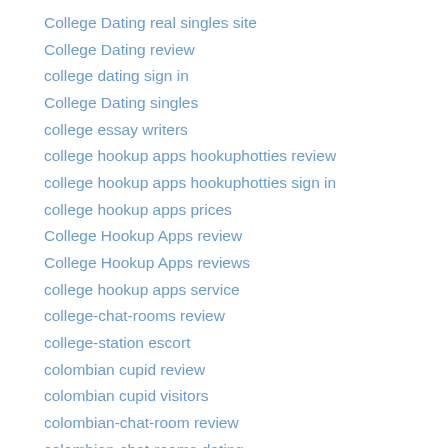College Dating real singles site
College Dating review
college dating sign in
College Dating singles
college essay writers
college hookup apps hookuphotties review
college hookup apps hookuphotties sign in
college hookup apps prices
College Hookup Apps review
College Hookup Apps reviews
college hookup apps service
college-chat-rooms review
college-station escort
colombian cupid review
colombian cupid visitors
colombian-chat-room review
colombian-chat-rooms dating